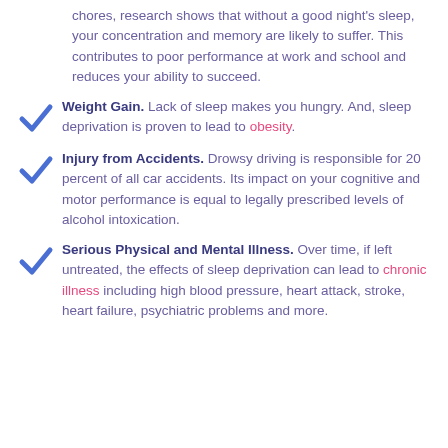chores, research shows that without a good night's sleep, your concentration and memory are likely to suffer. This contributes to poor performance at work and school and reduces your ability to succeed.
Weight Gain. Lack of sleep makes you hungry. And, sleep deprivation is proven to lead to obesity.
Injury from Accidents. Drowsy driving is responsible for 20 percent of all car accidents. Its impact on your cognitive and motor performance is equal to legally prescribed levels of alcohol intoxication.
Serious Physical and Mental Illness. Over time, if left untreated, the effects of sleep deprivation can lead to chronic illness including high blood pressure, heart attack, stroke, heart failure, psychiatric problems and more.